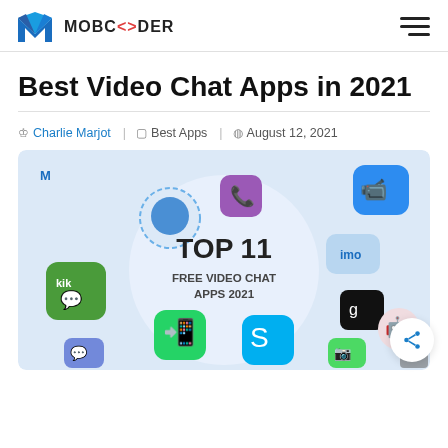MOBCODER
Best Video Chat Apps in 2021
Charlie Marjot  Best Apps  August 12, 2021
[Figure (illustration): Featured image showing TOP 11 FREE VIDEO CHAT APPS 2021 with app icons including Kik, Signal, Viber, Zoom, imo, Glide, WhatsApp, Skype, FaceTime, and others arranged around a central circle on a light blue background.]